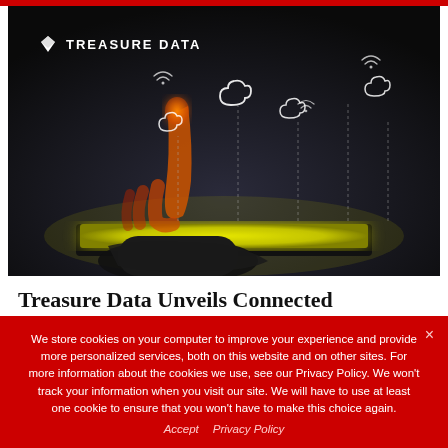[Figure (photo): Hero image showing a hand with a finger touching a glowing yellow-green tablet or screen, with cloud computing icons and wifi symbols floating above connected by dotted lines, on a dark background. Treasure Data logo (white diamond + text) overlaid in top-left corner.]
Treasure Data Unveils Connected
We store cookies on your computer to improve your experience and provide more personalized services, both on this website and on other sites. For more information about the cookies we use, see our Privacy Policy. We won't track your information when you visit our site. We will have to use at least one cookie to ensure that you won't have to make this choice again.
Accept   Privacy Policy